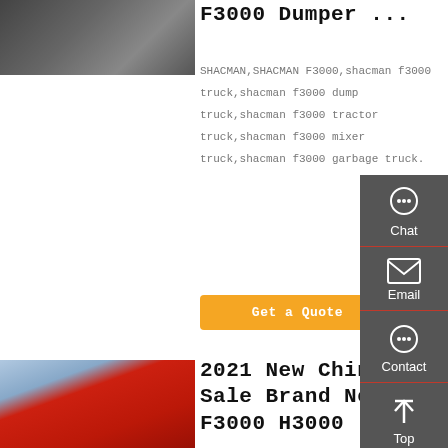[Figure (photo): Partial photo of a SHACMAN F3000 dumper truck, top portion visible]
F3000 Dumper ...
SHACMAN,SHACMAN F3000,shacman f3000 truck,shacman f3000 dump truck,shacman f3000 tractor truck,shacman f3000 mixer truck,shacman f3000 garbage truck.
Get a Quote
[Figure (other): Sidebar with Chat, Email, Contact, Top navigation icons on dark grey background]
[Figure (photo): Photo of a red SHACMAN F3000 H3000 dump truck]
2021 New China Hot Sale Brand New F3000 H3000 ...